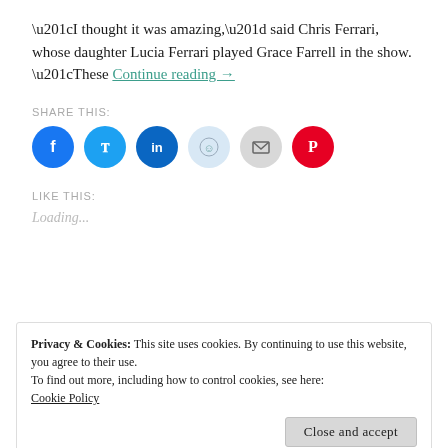“I thought it was amazing,” said Chris Ferrari, whose daughter Lucia Ferrari played Grace Farrell in the show. “These Continue reading →
SHARE THIS:
[Figure (other): Social share buttons: Facebook, Twitter, LinkedIn, Reddit, Email, Pinterest]
LIKE THIS:
Loading…
Privacy & Cookies: This site uses cookies. By continuing to use this website, you agree to their use. To find out more, including how to control cookies, see here: Cookie Policy
Close and accept